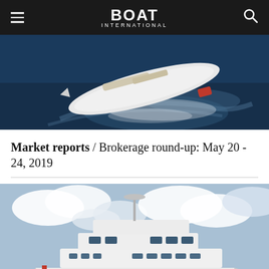BOAT International
[Figure (photo): Aerial view of a large sailing yacht underway at sea, photographed from above, white hull with wake visible in dark blue water.]
Market reports / Brokerage round-up: May 20 - 24, 2019
[Figure (photo): Side view of a large white motor yacht cruising at sea with cloudy sky in background.]